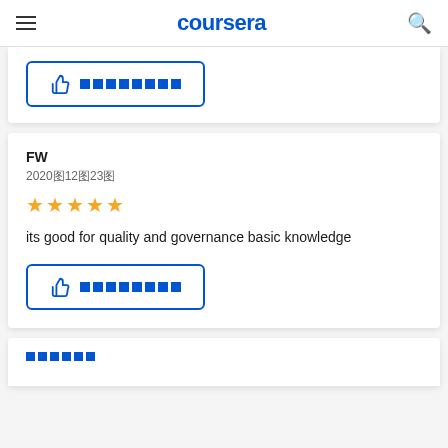coursera
[Figure (screenshot): Helpful button with thumbs up icon and redacted text, blue border, partial card top]
FW
2020年12月23日
[Figure (other): 5 gold stars rating]
its good for quality and governance basic knowledge
[Figure (screenshot): Helpful button with thumbs up icon and redacted text, blue border]
[Figure (screenshot): Partial card bottom with redacted text squares]